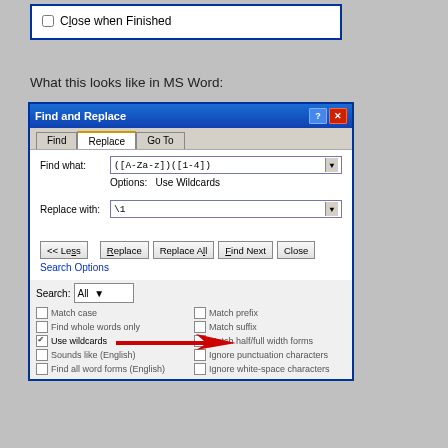[Figure (screenshot): Top portion of a dialog box showing a checkbox labeled 'Close when Finished']
What this looks like in MS Word:
[Figure (screenshot): MS Word Find and Replace dialog showing wildcard search. Find what: ([A-Za-z])([1-4]). Options: Use Wildcards. Replace with: \1. Buttons: << Less, Replace, Replace All, Find Next, Close. Search Options section with Use wildcards checkbox checked, indicated by a red arrow.]